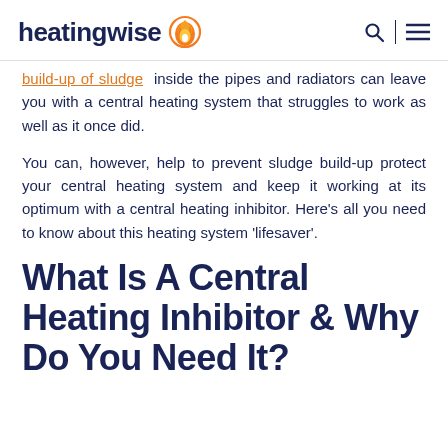heatingwise
build-up of sludge inside the pipes and radiators can leave you with a central heating system that struggles to work as well as it once did.
You can, however, help to prevent sludge build-up protect your central heating system and keep it working at its optimum with a central heating inhibitor. Here’s all you need to know about this heating system ‘lifesaver’.
What Is A Central Heating Inhibitor & Why Do You Need It?